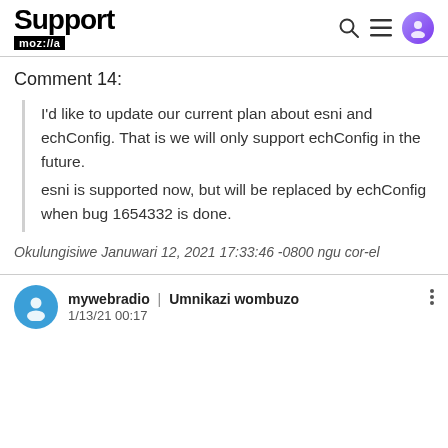Support moz://a
Comment 14:
I'd like to update our current plan about esni and echConfig. That is we will only support echConfig in the future.
esni is supported now, but will be replaced by echConfig when bug 1654332 is done.
Okulungisiwe Januwari 12, 2021 17:33:46 -0800 ngu cor-el
mywebradio | Umnikazi wombuzo
1/13/21 00:17